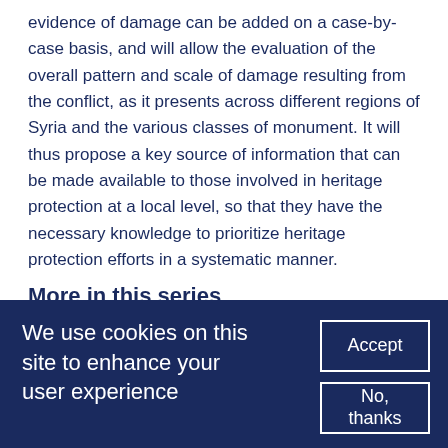evidence of damage can be added on a case-by-case basis, and will allow the evaluation of the overall pattern and scale of damage resulting from the conflict, as it presents across different regions of Syria and the various classes of monument. It will thus propose a key source of information that can be made available to those involved in heritage protection at a local level, so that they have the necessary knowledge to prioritize heritage protection efforts in a systematic manner.
More in this series
We use cookies on this site to enhance your user experience